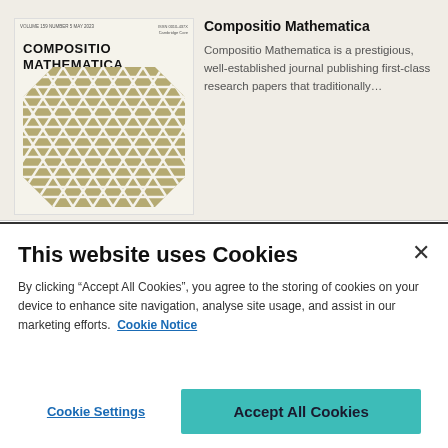[Figure (illustration): Journal cover of Compositio Mathematica featuring bold title text and a geometric hexagonal pattern in olive/khaki color on cream background]
Compositio Mathematica
Compositio Mathematica is a prestigious, well-established journal publishing first-class research papers that traditionally…
This website uses Cookies
By clicking “Accept All Cookies”, you agree to the storing of cookies on your device to enhance site navigation, analyse site usage, and assist in our marketing efforts. Cookie Notice
Cookie Settings
Accept All Cookies